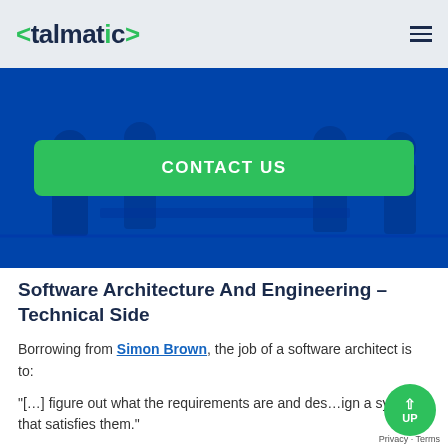<talmatic>
[Figure (photo): Blue-tinted hero image of people in an office/meeting environment with a green 'CONTACT US' button overlay]
Software Architecture And Engineering – Technical Side
Borrowing from Simon Brown, the job of a software architect is to:
"[…] figure out what the requirements are and design a system that satisfies them."